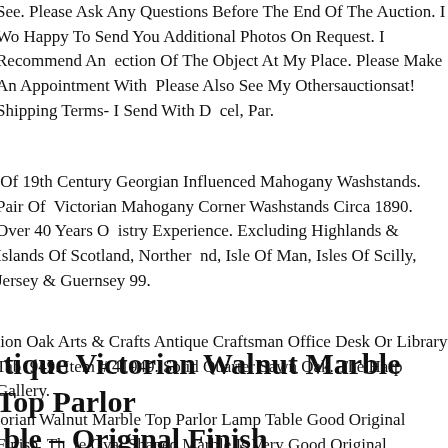See. Please Ask Any Questions Before The End Of The Auction. I Would Be Happy To Send You Additional Photos On Request. I Recommend An Inspection Of The Object At My Place. Please Make An Appointment With Me. Please Also See My Othersauctionsat! Shipping Terms- I Send With DHL Parcel, Par.
Pair Of 19th Century Georgian Influenced Mahogany Washstands. Pair Of Victorian Mahogany Corner Washstands Circa 1890. Over 40 Years Of Industry Experience. Excluding Highlands & Islands Of Scotland, Northern Ireland, Isle Of Man, Isles Of Scilly, Jersey & Guernsey 99.
Mission Oak Arts & Crafts Antique Craftsman Office Desk Or Library Table 41949. Item # 41949. Solid Quarter Sawn Oak. The Harp Gallery.
Antique Victorian Walnut Marble Top Parlor Table – Original Finish
Victorian Walnut Marble Top Parlor Lamp Table Good Original Finish. The White Oval Shaped Marble Is Very Good Original Condtion. Supported On Original Castors. A Very Unique Design. This Table Is 26 X 35 And 30 He...